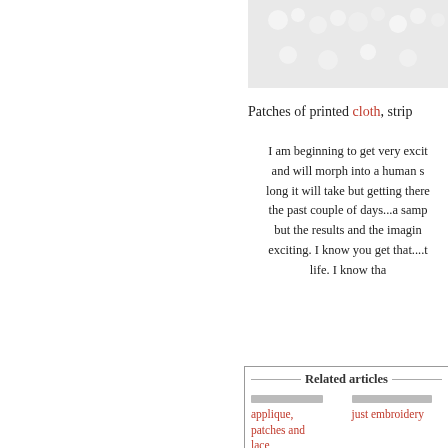[Figure (photo): Photo of white cloth with textured/floral pattern, cropped at top of page]
Patches of printed cloth, strip...
I am beginning to get very excit... and will morph into a human s... long it will take but getting there... the past couple of days...a samp... but the results and the imagin... exciting. I know you get that....t... life. I know tha...
Related articles
applique, patches and lace
just embroidery
Posted at 12:38 PM in embroidery, p...
Tags: embroidery, patches, strips, tab...
Reblog (0)